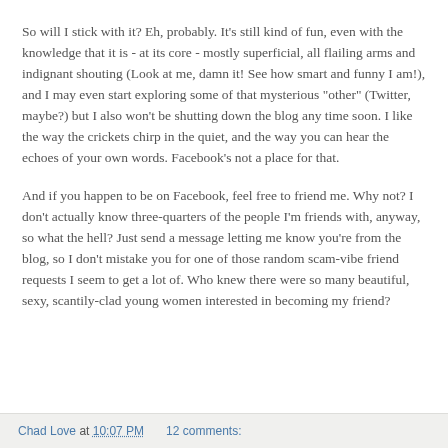So will I stick with it? Eh, probably. It's still kind of fun, even with the knowledge that it is - at its core - mostly superficial, all flailing arms and indignant shouting (Look at me, damn it! See how smart and funny I am!), and I may even start exploring some of that mysterious "other" (Twitter, maybe?) but I also won't be shutting down the blog any time soon. I like the way the crickets chirp in the quiet, and the way you can hear the echoes of your own words. Facebook's not a place for that.
And if you happen to be on Facebook, feel free to friend me. Why not? I don't actually know three-quarters of the people I'm friends with, anyway, so what the hell? Just send a message letting me know you're from the blog, so I don't mistake you for one of those random scam-vibe friend requests I seem to get a lot of. Who knew there were so many beautiful, sexy, scantily-clad young women interested in becoming my friend?
Chad Love at 10:07 PM   12 comments: